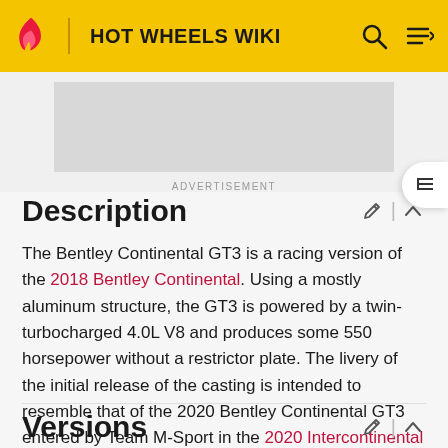HOT WHEELS WIKI
ADVERTISEMENT
Description
The Bentley Continental GT3 is a racing version of the 2018 Bentley Continental. Using a mostly aluminum structure, the GT3 is powered by a twin-turbocharged 4.0L V8 and produces some 550 horsepower without a restrictor plate. The livery of the initial release of the casting is intended to resemble that of the 2020 Bentley Continental GT3 entered by Team M-Sport in the 2020 Intercontinental GT Challenge.
Versions